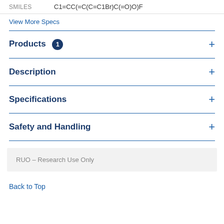SMILES    C1=CC(=C(C=C1Br)C(=O)O)F
View More Specs
Products  1
Description
Specifications
Safety and Handling
RUO – Research Use Only
Back to Top